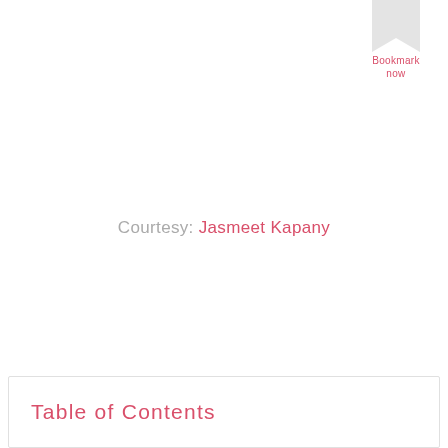[Figure (illustration): Bookmark ribbon shape in top-right corner with 'Bookmark now' text in red/pink below it]
Courtesy: Jasmeet Kapany
Table of Contents